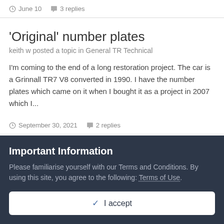June 10  3 replies
'Original' number plates
keith w posted a topic in General TR Technical
I'm coming to the end of a long restoration project. The car is a Grinnall TR7 V8 converted in 1990. I have the number plates which came on it when I bought it as a project in 2007 which I...
September 30, 2021  2 replies
1963 Dove GTR4 coming up for auction
keith w posted a topic in TR4/4A Forum
Important Information
Please familiarise yourself with our Terms and Conditions. By using this site, you agree to the following: Terms of Use.
✓ I accept